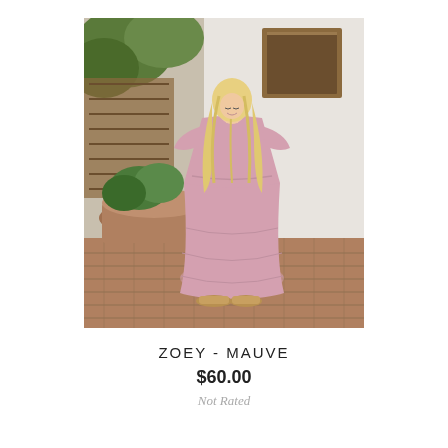[Figure (photo): A woman with long blonde wavy hair wearing a mauve/pink tiered midi dress with short flutter sleeves and gold strappy sandals, standing on a brick patio next to a large terracotta planter with greenery, with a white stucco wall and wooden gate in the background.]
ZOEY - MAUVE
$60.00
Not Rated